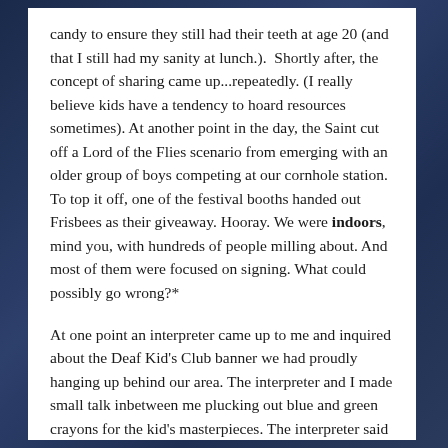candy to ensure they still had their teeth at age 20 (and that I still had my sanity at lunch.). Shortly after, the concept of sharing came up...repeatedly. (I really believe kids have a tendency to hoard resources sometimes). At another point in the day, the Saint cut off a Lord of the Flies scenario from emerging with an older group of boys competing at our cornhole station. To top it off, one of the festival booths handed out Frisbees as their giveaway. Hooray. We were indoors, mind you, with hundreds of people milling about. And most of them were focused on signing. What could possibly go wrong?*
At one point an interpreter came up to me and inquired about the Deaf Kid's Club banner we had proudly hanging up behind our area. The interpreter and I made small talk inbetween me plucking out blue and green crayons for the kid's masterpieces. The interpreter said something that made my volunteer experience all the more vivid: